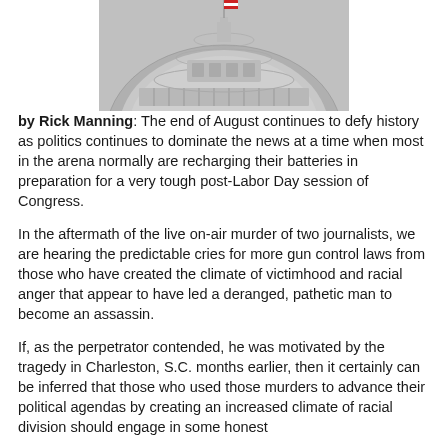[Figure (photo): Photograph of the United States Capitol dome with a flag at the top, viewed from below against a grey sky.]
by Rick Manning: The end of August continues to defy history as politics continues to dominate the news at a time when most in the arena normally are recharging their batteries in preparation for a very tough post-Labor Day session of Congress.
In the aftermath of the live on-air murder of two journalists, we are hearing the predictable cries for more gun control laws from those who have created the climate of victimhood and racial anger that appear to have led a deranged, pathetic man to become an assassin.
If, as the perpetrator contended, he was motivated by the tragedy in Charleston, S.C. months earlier, then it certainly can be inferred that those who used those murders to advance their political agendas by creating an increased climate of racial division should engage in some honest